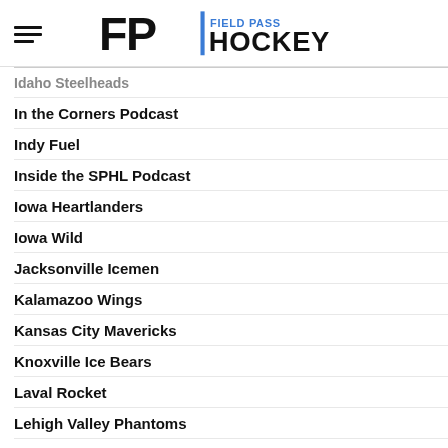Field Pass Hockey
Idaho Steelheads
In the Corners Podcast
Indy Fuel
Inside the SPHL Podcast
Iowa Heartlanders
Iowa Wild
Jacksonville Icemen
Kalamazoo Wings
Kansas City Mavericks
Knoxville Ice Bears
Laval Rocket
Lehigh Valley Phantoms
Macon Mayhem